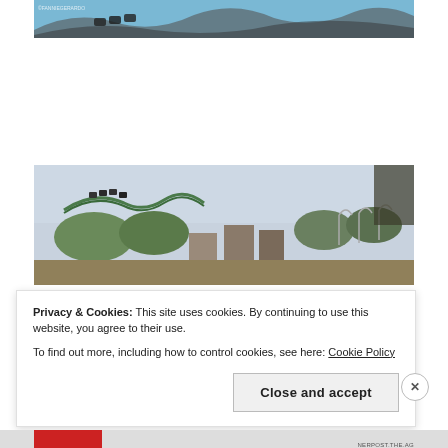[Figure (photo): Close-up photo of roller coaster track and cars against blue sky with watermark text]
[Figure (photo): Wide panoramic photo of a theme park showing roller coaster tracks, trees, wooden structures and decorative lamp posts against a hazy sky]
Privacy & Cookies: This site uses cookies. By continuing to use this website, you agree to their use.
To find out more, including how to control cookies, see here: Cookie Policy
Close and accept